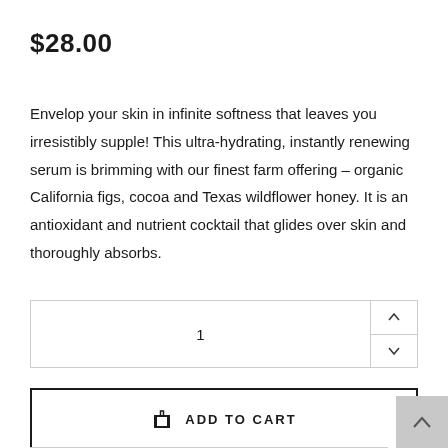$28.00
Envelop your skin in infinite softness that leaves you irresistibly supple! This ultra-hydrating, instantly renewing serum is brimming with our finest farm offering – organic California figs, cocoa and Texas wildflower honey. It is an antioxidant and nutrient cocktail that glides over skin and thoroughly absorbs.
1
ADD TO CART